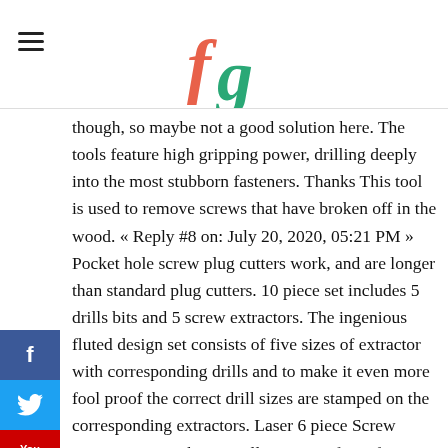FG logo / site header
though, so maybe not a good solution here. The tools feature high gripping power, drilling deeply into the most stubborn fasteners. Thanks This tool is used to remove screws that have broken off in the wood. « Reply #8 on: July 20, 2020, 05:21 PM » Pocket hole screw plug cutters work, and are longer than standard plug cutters. 10 piece set includes 5 drills bits and 5 screw extractors. The ingenious fluted design set consists of five sizes of extractor with corresponding drills and to make it even more fool proof the correct drill sizes are stamped on the corresponding extractors. Laser 6 piece Screw Extractor Set . This nice illustration of it is from Rockler, and while I didnâ  t get my extractor from them, you can click the image to see what size extractor bits they have. Next, put the drill bit in the indentation you made and drill â   to ¼ of an inch into the screw head. Below is an image of